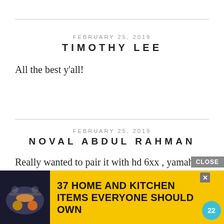FEBRUARY 25, 2019
TIMOTHY LEE
All the best y'all!
FEBRUARY 25, 2019
NOVAL ABDUL RAHMAN
Really wanted to pair it with hd 6xx , yamaha hp3 and any headphone i need to get next, thanks for the giveaway 🙂
[Figure (infographic): Advertisement banner: '37 HOME AND KITCHEN ITEMS EVERYONE SHOULD OWN' on yellow background with food image and teal badge showing '22', plus a CLOSE button]